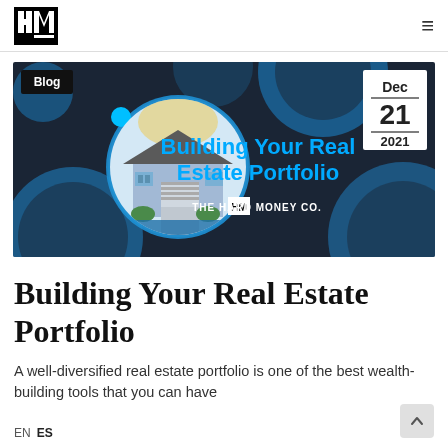HM — The Hard Money Co. navigation bar with logo and hamburger menu
[Figure (illustration): Dark navy banner with blue circular graphic elements, a house photo in a circular frame on the left, bold cyan text reading 'Building Your Real Estate Portfolio', The Hard Money Co. logo and name, a white date box showing 'Dec — 21 — 2021', and a 'Blog' label badge in the top-left corner.]
Building Your Real Estate Portfolio
A well-diversified real estate portfolio is one of the best wealth-building tools that you can have